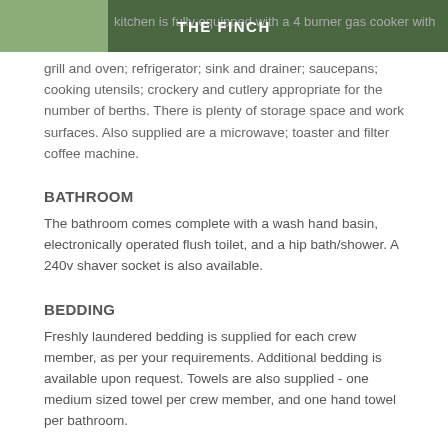THE FINCH
kitchen is fully equipped with a 4 burner gas cooker with grill and oven; refrigerator; sink and drainer; saucepans; cooking utensils; crockery and cutlery appropriate for the number of berths. There is plenty of storage space and work surfaces. Also supplied are a microwave; toaster and filter coffee machine.
BATHROOM
The bathroom comes complete with a wash hand basin, electronically operated flush toilet, and a hip bath/shower. A 240v shaver socket is also available.
BEDDING
Freshly laundered bedding is supplied for each crew member, as per your requirements. Additional bedding is available upon request. Towels are also supplied - one medium sized towel per crew member, and one hand towel per bathroom.